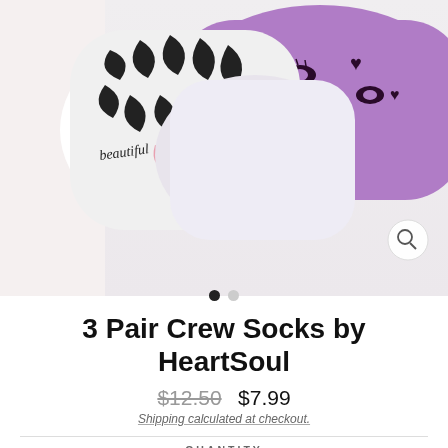[Figure (photo): Product photo showing 3 pairs of crew socks: zebra print with pink accents, white with black pattern, and purple with heart and eye doodles]
3 Pair Crew Socks by HeartSoul
$12.50  $7.99
Shipping calculated at checkout.
QUANTITY
1
Complete the look!